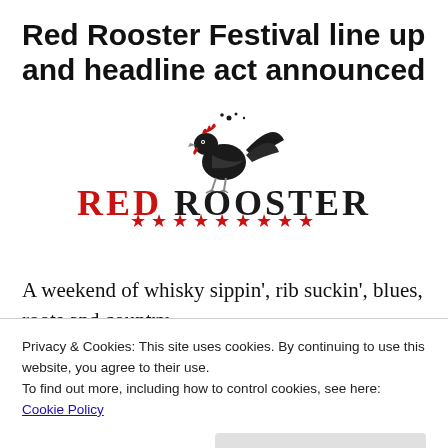Red Rooster Festival line up and headline act announced
[Figure (logo): Red Rooster festival logo with a rooster illustration above stylized 'RED ROOSTER' text and a row of red stars below]
A weekend of whisky sippin', rib suckin', blues, roots and country
Privacy & Cookies: This site uses cookies. By continuing to use this website, you agree to their use.
To find out more, including how to control cookies, see here: Cookie Policy
Close and accept